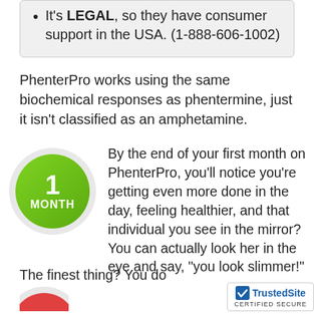It's LEGAL, so they have consumer support in the USA. (1-888-606-1002)
PhenterPro works using the same biochemical responses as phentermine, just it isn't classified as an amphetamine.
[Figure (illustration): Green circle badge with '1 MONTH' text on white/grey circular background]
By the end of your first month on PhenterPro, you'll notice you're getting even more done in the day, feeling healthier, and that individual you see in the mirror? You can actually look her in the eye and say, "you look slimmer!"
[Figure (logo): TrustedSite CERTIFIED SECURE badge]
The finest thing? You do